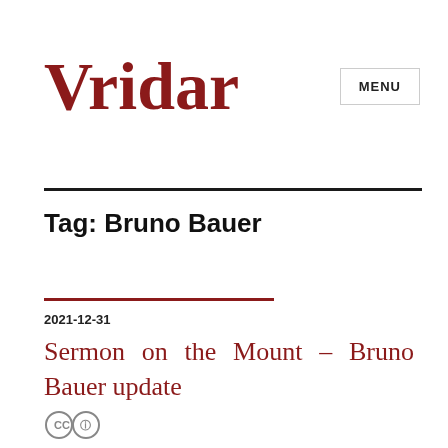Vridar
Tag: Bruno Bauer
2021-12-31
Sermon on the Mount – Bruno Bauer update
[Figure (logo): Creative Commons license icon]